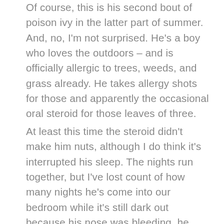Of course, this is his second bout of poison ivy in the latter part of summer. And, no, I'm not surprised. He's a boy who loves the outdoors – and is officially allergic to trees, weeds, and grass already. He takes allergy shots for those and apparently the occasional oral steroid for those leaves of three.
At least this time the steroid didn't make him nuts, although I do think it's interrupted his sleep. The nights run together, but I've lost count of how many nights he's come into our bedroom while it's still dark out because his nose was bleeding, he was restless, he wanted to check to see if Daddy had left for work yet, he wet the bed, or he thought it was an